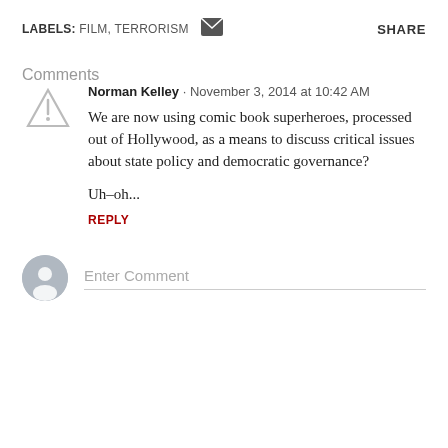LABELS: FILM, TERRORISM  SHARE
Comments
Norman Kelley · November 3, 2014 at 10:42 AM
We are now using comic book superheroes, processed out of Hollywood, as a means to discuss critical issues about state policy and democratic governance?

Uh-oh...

REPLY
Enter Comment